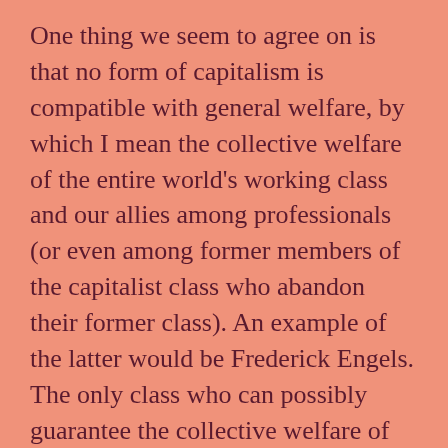One thing we seem to agree on is that no form of capitalism is compatible with general welfare, by which I mean the collective welfare of the entire world's working class and our allies among professionals (or even among former members of the capitalist class who abandon their former class). An example of the latter would be Frederick Engels. The only class who can possibly guarantee the collective welfare of the world's working class is the world's working class.
The reason capitalism cannot promote our general welfare is that it is inherently based on the exploitation of our immense class by another, much smaller class. And exploitation